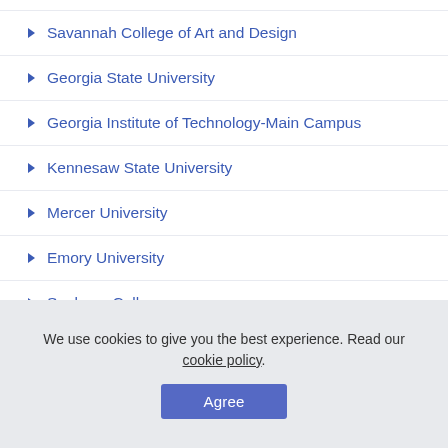Savannah College of Art and Design
Georgia State University
Georgia Institute of Technology-Main Campus
Kennesaw State University
Mercer University
Emory University
Spelman College
We use cookies to give you the best experience. Read our cookie policy.
Agree